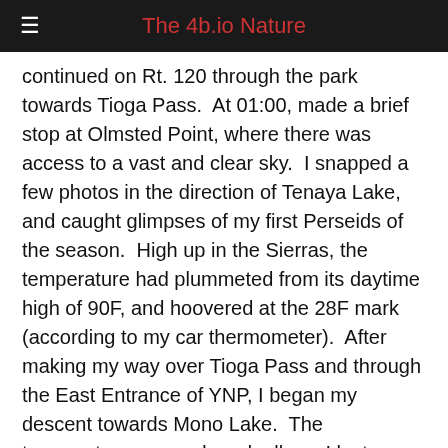The 4b.io Nature
continued on Rt. 120 through the park towards Tioga Pass.  At 01:00, made a brief stop at Olmsted Point, where there was access to a vast and clear sky.  I snapped a few photos in the direction of Tenaya Lake, and caught glimpses of my first Perseids of the season.  High up in the Sierras, the temperature had plummeted from its daytime high of 90F, and hoovered at the 28F mark (according to my car thermometer).  After making my way over Tioga Pass and through the East Entrance of YNP, I began my descent towards Mono Lake.  The temperature warmed gradually as I lost elevation.  Arriving at the South Tufa Area at 02:30 Saturday morning.
There was only one other car in the parking lot.  The car belonged to another photographer who happened to be wrapping up his session for night.  While I thought him...